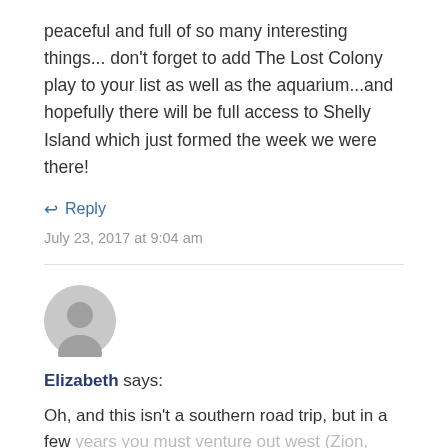peaceful and full of so many interesting things... don't forget to add The Lost Colony play to your list as well as the aquarium...and hopefully there will be full access to Shelly Island which just formed the week we were there!
↩ Reply
July 23, 2017 at 9:04 am
Elizabeth says:
Oh, and this isn't a southern road trip, but in a few years you must venture out west (Zion, Bryce, Moab, Mesa Verde, Lake Powell, Grand Canyon